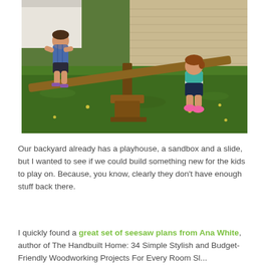[Figure (photo): Two children playing on a wooden seesaw in a backyard with green grass. One child sits on the left end (higher up), and another child sits on the right end. A beige siding house is visible in the background.]
Our backyard already has a playhouse, a sandbox and a slide, but I wanted to see if we could build something new for the kids to play on. Because, you know, clearly they don't have enough stuff back there.
I quickly found a great set of seesaw plans from Ana White, author of The Handbuilt Home: 34 Simple Stylish and Budget-Friendly Woodworking Projects For Every Room Sl...